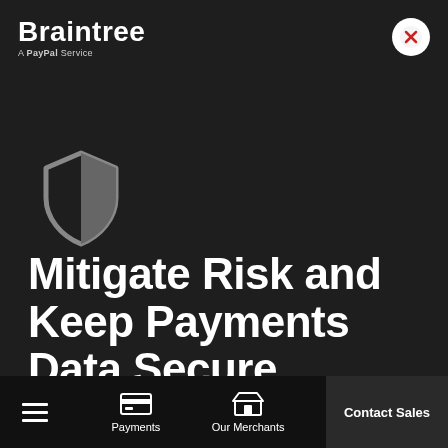[Figure (logo): Braintree - A PayPal Service logo in white text on dark background]
[Figure (illustration): Close/X button icon in top right corner - circular white button with red X]
[Figure (illustration): Shield security icon in gray/dark colors]
Mitigate Risk and Keep Payments Data Secure
[Figure (infographic): Bottom navigation bar with hamburger menu, Payments icon, Our Merchants icon, and Contact Sales button]